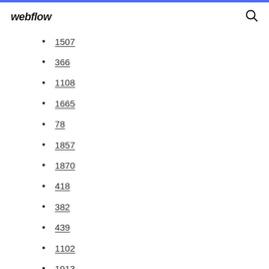webflow
1507
366
1108
1665
78
1857
1870
418
382
439
1102
1913